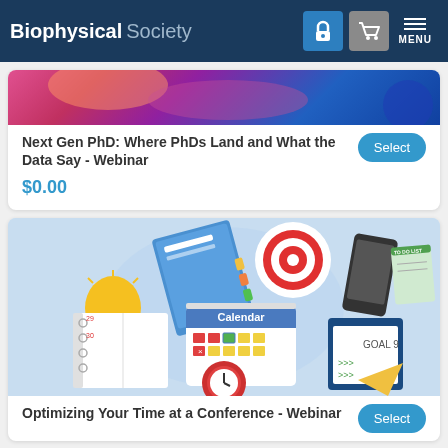Biophysical Society
[Figure (illustration): Abstract science/technology banner image with colorful light effects]
Next Gen PhD: Where PhDs Land and What the Data Say - Webinar
$0.00
[Figure (illustration): Flat design illustration showing productivity items: light bulb, notebook, calendar, target/bullseye, smartphone, to-do list, goals clipboard, alarm clock, envelope]
Optimizing Your Time at a Conference - Webinar